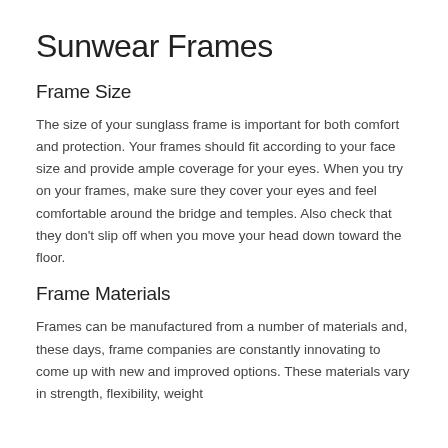Sunwear Frames
Frame Size
The size of your sunglass frame is important for both comfort and protection. Your frames should fit according to your face size and provide ample coverage for your eyes. When you try on your frames, make sure they cover your eyes and feel comfortable around the bridge and temples. Also check that they don't slip off when you move your head down toward the floor.
Frame Materials
Frames can be manufactured from a number of materials and, these days, frame companies are constantly innovating to come up with new and improved options. These materials vary in strength, flexibility, weight